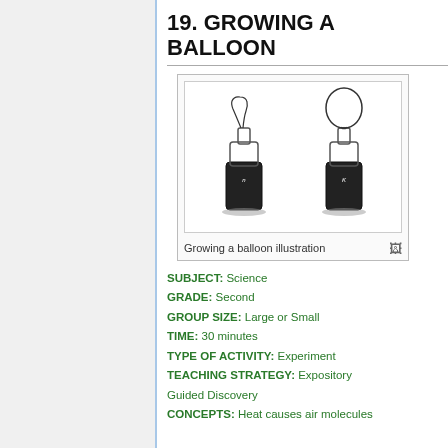19. GROWING A BALLOON
[Figure (illustration): Two bottles side by side. The left bottle has a deflated balloon on its neck, the right bottle has an inflated balloon on its neck, illustrating heat causing the balloon to grow.]
Growing a balloon illustration
SUBJECT: Science
GRADE: Second
GROUP SIZE: Large or Small
TIME: 30 minutes
TYPE OF ACTIVITY: Experiment
TEACHING STRATEGY: Expository Guided Discovery
CONCEPTS: Heat causes air molecules